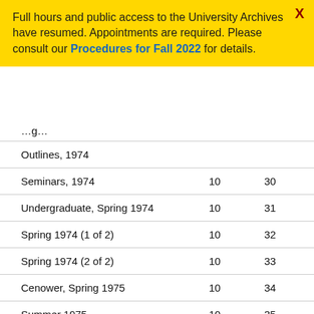Full hours and public access to the University Archives have resumed. Appointments are required. Please consult our Procedures for Fall 2022 for details.
|  |  |  |
| --- | --- | --- |
| Outlines, 1974 |  |  |
| Seminars, 1974 | 10 | 30 |
| Undergraduate, Spring 1974 | 10 | 31 |
| Spring 1974 (1 of 2) | 10 | 32 |
| Spring 1974 (2 of 2) | 10 | 33 |
| Cenower, Spring 1975 | 10 | 34 |
| Summer 1975 | 10 | 35 |
| Exams, Summer 1975 | 10 | 36 |
| Summer 1975 | 10 | 37 |
| 1976 | 10 | 38 |